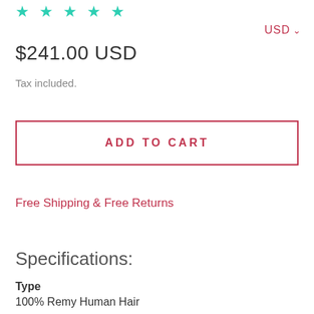[Figure (other): Five teal/turquoise star rating icons]
USD ▾
$241.00 USD
Tax included.
ADD TO CART
Free Shipping & Free Returns
Specifications:
Type
100% Remy Human Hair